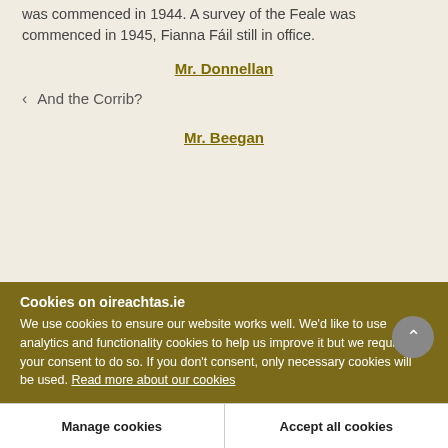was commenced in 1944. A survey of the Feale was commenced in 1945, Fianna Fáil still in office.
Mr. Donnellan
And the Corrib?
Mr. Beegan
Cookies on oireachtas.ie
We use cookies to ensure our website works well. We'd like to use analytics and functionality cookies to help us improve it but we require your consent to do so. If you don't consent, only necessary cookies will be used. Read more about our cookies
Manage cookies
Accept all cookies